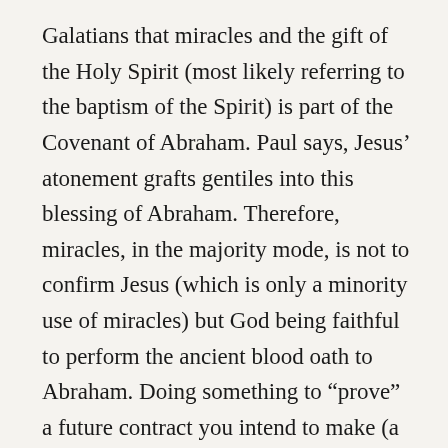Galatians that miracles and the gift of the Holy Spirit (most likely referring to the baptism of the Spirit) is part of the Covenant of Abraham. Paul says, Jesus' atonement grafts gentiles into this blessing of Abraham. Therefore, miracles, in the majority mode, is not to confirm Jesus (which is only a minority use of miracles) but God being faithful to perform the ancient blood oath to Abraham. Doing something to “prove” a future contract you intend to make (a sign), and performing an action that you are already bound by contract to perform, are two different categories.  For those who are savvy with logic, will see the implication of this. So what if the